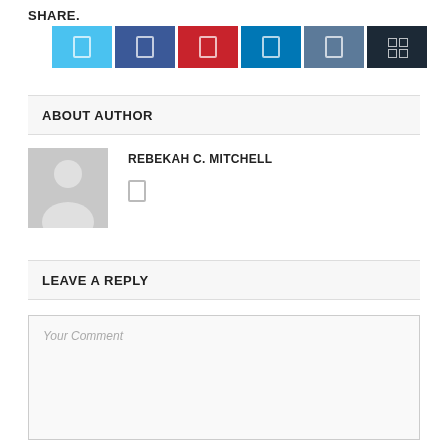SHARE.
[Figure (other): Social media share buttons: Twitter (light blue), Facebook (dark blue), Pinterest (red), LinkedIn (teal), Tumblr (slate blue), share count (dark navy)]
ABOUT AUTHOR
[Figure (other): Author avatar placeholder with generic person silhouette in gray]
REBEKAH C. MITCHELL
[Figure (other): Social media icon link placeholder]
LEAVE  A  REPLY
Your Comment